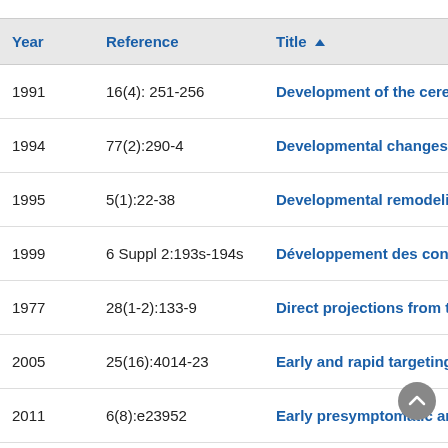| Year | Reference | Title |
| --- | --- | --- |
| 1991 | 16(4): 251-256 | Development of the cerebral |
| 1994 | 77(2):290-4 | Developmental changes in th |
| 1995 | 5(1):22-38 | Developmental remodeling o |
| 1999 | 6 Suppl 2:193s-194s | Développement des connexio |
| 1977 | 28(1-2):133-9 | Direct projections from thala |
| 2005 | 25(16):4014-23 | Early and rapid targeting of e |
| 2011 | 6(8):e23952 | Early presymptomatic and lo |
| 2002 | 12(5):453-65 | Early specification of the hier |
| ... | 12(...):...-... | Effect of... |